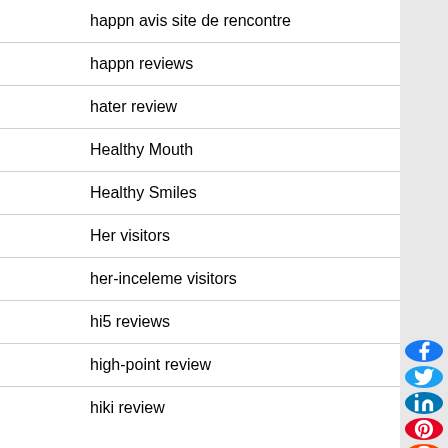happn avis site de rencontre
happn reviews
hater review
Healthy Mouth
Healthy Smiles
Her visitors
her-inceleme visitors
hi5 reviews
high-point review
hiki review